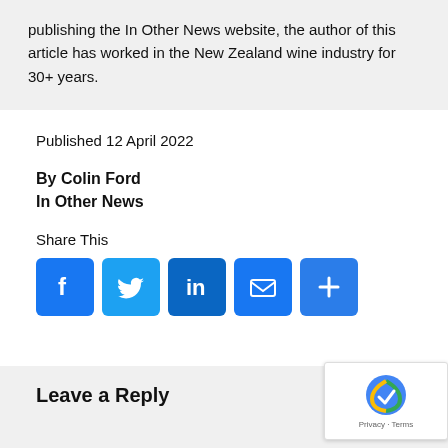publishing the In Other News website, the author of this article has worked in the New Zealand wine industry for 30+ years.
Published 12 April 2022
By Colin Ford
In Other News
Share This
[Figure (infographic): Social share icons: Facebook, Twitter, LinkedIn, Email, Share (plus sign)]
Leave a Reply